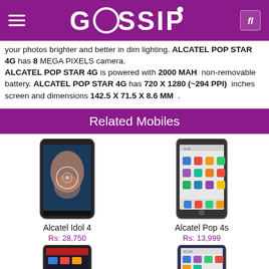GOSSIP
your photos brighter and better in dim lighting. ALCATEL POP STAR 4G has 8 MEGA PIXELS camera. ALCATEL POP STAR 4G is powered with 2000 MAH non-removable battery. ALCATEL POP STAR 4G has 720 X 1280 (~294 PPI) inches screen and dimensions 142.5 X 71.5 X 8.6 MM .
Related Mobiles
[Figure (photo): Alcatel Idol 4 smartphone front view]
Alcatel Idol 4
Rs: 28,750
[Figure (photo): Alcatel Pop 4s smartphone front view]
Alcatel Pop 4s
Rs: 13,999
[Figure (photo): Third phone partial view bottom left]
[Figure (photo): Fourth phone partial view bottom right]